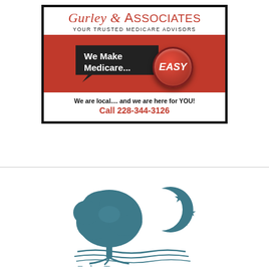[Figure (logo): Gurley & Associates - Your Trusted Medicare Advisors advertisement with 'We Make Medicare... EASY' red banner graphic, phone number Call 228-344-3126]
[Figure (logo): Delta T logo - oak tree silhouette with crescent moon and stars above water lines, partial company name visible at bottom]